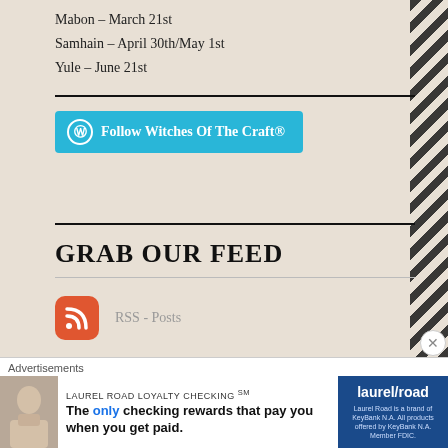Mabon – March 21st
Samhain – April 30th/May 1st
Yule – June 21st
[Figure (other): Blue rounded button with WordPress icon reading: Follow Witches Of The Craft®]
GRAB OUR FEED
[Figure (other): RSS orange icon with label RSS - Posts]
[Figure (other): RSS orange icon with label RSS - Comments]
BUZZ AROUND THE CAULDRON
Advertisements
LAUREL ROAD LOYALTY CHECKING℠ The only checking rewards that pay you when you get paid.